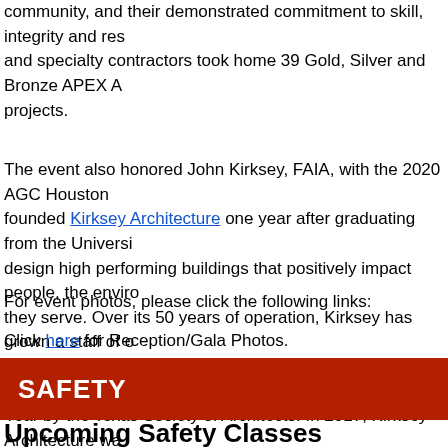community, and their demonstrated commitment to skill, integrity and res and specialty contractors took home 39 Gold, Silver and Bronze APEX A projects.
The event also honored John Kirksey, FAIA, with the 2020 AGC Houston founded Kirksey Architecture one year after graduating from the Universi design high performing buildings that positively impact people, the enviro they serve. Over its 50 years of operation, Kirksey has grown a staff of o and Austin. Kirksey has been recognized with over 200 design and firm a Year by the Texas Society of Architects. In 2017, Kirksey Architecture wa in the US by Architect Magazine.
For event photos, please click the following links:
Click here for Reception/Gala Photos.
Click here for winning team projects.
Click here to learn more about winning team projects.
SAFETY
Upcoming Safety Classes